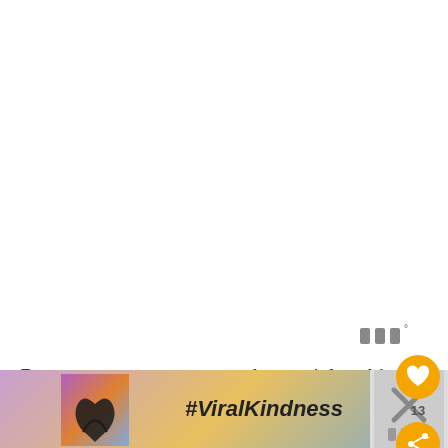[Figure (other): Watermark or logo icon in gray, resembling stylized 'III' letters with a degree symbol]
Remove more center wood material making left to right cuts until the depth is reduced evenly a bit farther. Again, adjust to the side wall positi and work away the material to the edge of the
[Figure (infographic): UI overlay with orange heart button showing count 13, and orange share button. Advertisement banner at bottom showing hands making a heart shape silhouette against sunset sky with #ViralKindness text, close button, and a right-side panel with X icon and gray watermark.]